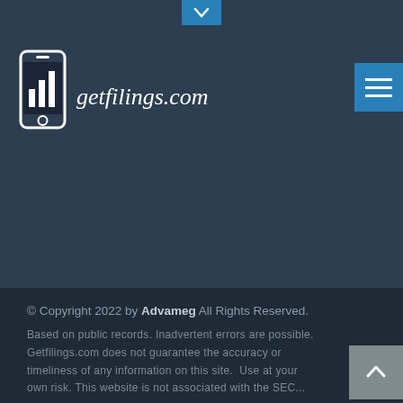[Figure (logo): getfilings.com logo with mobile phone icon and bar chart, white on dark background]
© Copyright 2022 by Advameg All Rights Reserved.
Based on public records. Inadvertent errors are possible. Getfilings.com does not guarantee the accuracy or timeliness of any information on this site.  Use at your own risk. This website is not associated with the SEC...
[Figure (screenshot): Advertisement: Easy Out-of-State Probate. Probate Problems In Michigan, But Live Out-of-State? We Handle Probate In Every MI County. Rochester Law Center. Open button.]